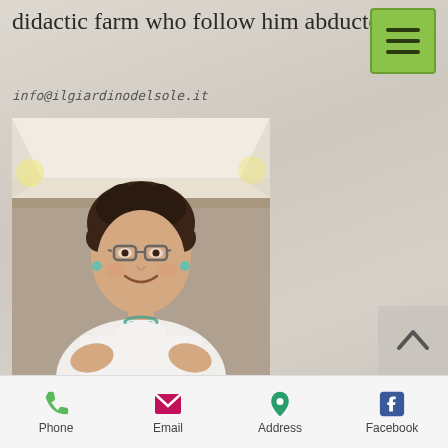didactic farm who follow him abducted.
info@ilgiardinodelsole.it
[Figure (photo): Portrait photo of Mrs. Enza, a woman with curly brown hair and glasses, wearing a white short-sleeved shirt, smiling at an outdoor event.]
Mrs. Enza
My mother, primary school teacher, organizer of the agritourism, some renamed as "The Director". Dialogue and perseverance are his best qualities, his main job is the management and
Phone   Email   Address   Facebook